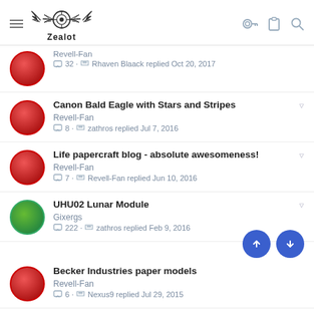Zealot
Canon Bald Eagle with Stars and Stripes | Revell-Fan | 8 comments · zathros replied Jul 7, 2016
Life papercraft blog - absolute awesomeness! | Revell-Fan | 7 comments · Revell-Fan replied Jun 10, 2016
UHU02 Lunar Module | Gixergs | 222 comments · zathros replied Feb 9, 2016
Becker Industries paper models | Revell-Fan | 6 comments · Nexus9 replied Jul 29, 2015
Easy and very nice papercrafts from Germany | Revell-Fan | 5 comments · silveroxide replied Feb 11, 2015